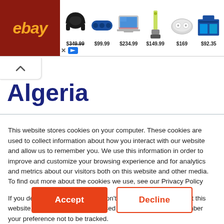[Figure (screenshot): eBay advertisement banner with logo and product listings showing prices: $99.99, $234.99, $149.99, $169, $92.35]
Algeria
This website stores cookies on your computer. These cookies are used to collect information about how you interact with our website and allow us to remember you. We use this information in order to improve and customize your browsing experience and for analytics and metrics about our visitors both on this website and other media. To find out more about the cookies we use, see our Privacy Policy

If you decline, your information won't be tracked when you visit this website. A single cookie will be used in your browser to remember your preference not to be tracked.